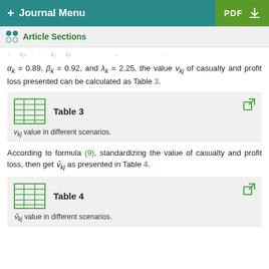+ Journal Menu | PDF
Article Sections
α_k = 0.89, β_k = 0.92, and λ_k = 2.25, the value v_{kj} of casualty and profit loss presented can be calculated as Table 3.
Table 3
v_{kj} value in different scenarios.
According to formula (9), standardizing the value of casualty and profit loss, then get v̄_{kj} as presented in Table 4.
Table 4
v̄_{kj} value in different scenarios.